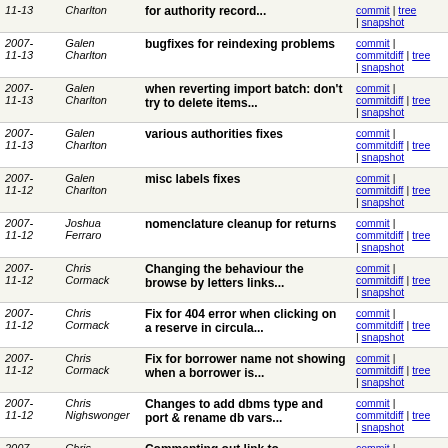| Date | Author | Message | Links |
| --- | --- | --- | --- |
| 2007-11-13 | Galen Charlton | for authority record... | commit | commitdiff | tree | snapshot |
| 2007-11-13 | Galen Charlton | bugfixes for reindexing problems | commit | commitdiff | tree | snapshot |
| 2007-11-13 | Galen Charlton | when reverting import batch: don't try to delete items... | commit | commitdiff | tree | snapshot |
| 2007-11-13 | Galen Charlton | various authorities fixes | commit | commitdiff | tree | snapshot |
| 2007-11-12 | Galen Charlton | misc labels fixes | commit | commitdiff | tree | snapshot |
| 2007-11-12 | Joshua Ferraro | nomenclature cleanup for returns | commit | commitdiff | tree | snapshot |
| 2007-11-12 | Chris Cormack | Changing the behaviour the browse by letters links... | commit | commitdiff | tree | snapshot |
| 2007-11-12 | Chris Cormack | Fix for 404 error when clicking on a reserve in circula... | commit | commitdiff | tree | snapshot |
| 2007-11-12 | Chris Cormack | Fix for borrower name not showing when a borrower is... | commit | commitdiff | tree | snapshot |
| 2007-11-12 | Chris Nighswonger | Changes to add dbms type and port & rename db vars... | commit | commitdiff | tree | snapshot |
| 2007-11-12 | Chris Cormack | Commenting out link to addnotes.pl which doesnt exist | commit | commitdiff | tree | snapshot |
| 2007-11-12 | Chris Cormack | Setting it up so circ and members use a different toolb... | commit | commitdiff | tree | snapshot |
| 2007-11-12 | Chris Cormack | Fix so that if you edit a borrower from circ, or | commit | commitdiff | tree | snapshot |